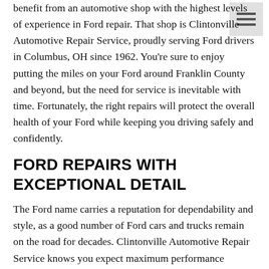benefit from an automotive shop with the highest levels of experience in Ford repair. That shop is Clintonville Automotive Repair Service, proudly serving Ford drivers in Columbus, OH since 1962. You're sure to enjoy putting the miles on your Ford around Franklin County and beyond, but the need for service is inevitable with time. Fortunately, the right repairs will protect the overall health of your Ford while keeping you driving safely and confidently.
FORD REPAIRS WITH EXCEPTIONAL DETAIL
The Ford name carries a reputation for dependability and style, as a good number of Ford cars and trucks remain on the road for decades. Clintonville Automotive Repair Service knows you expect maximum performance throughout your course of ownership. This calls for the most detailed workmanship under the hood, complete with